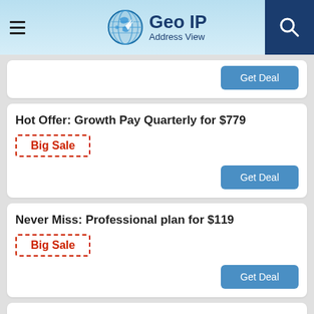Geo IP Address View
Get Deal
Hot Offer: Growth Pay Quarterly for $779
Big Sale
Get Deal
Never Miss: Professional plan for $119
Big Sale
Get Deal
Big Sale: Premium Plan for $279
Big Sale
Get Deal